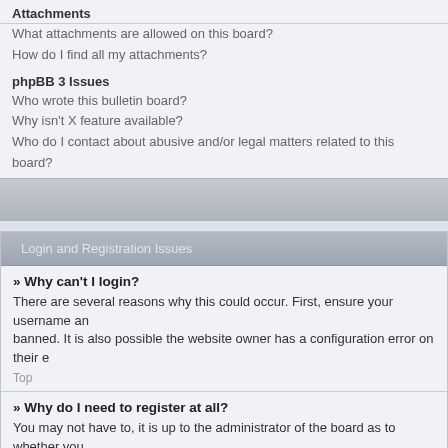Attachments
What attachments are allowed on this board?
How do I find all my attachments?
phpBB 3 Issues
Who wrote this bulletin board?
Why isn't X feature available?
Who do I contact about abusive and/or legal matters related to this board?
Login and Registration Issues
» Why can't I login?
There are several reasons why this could occur. First, ensure your username and password are correct. Also, the administrator may have banned. It is also possible the website owner has a configuration error on their e
Top
» Why do I need to register at all?
You may not have to, it is up to the administrator of the board as to whether you need to register in order to post messages. However, registration will give you access to additional features not available to guest users such as definable avatar images, private messaging, emailing of fellow users, usergroup subscription, etc. It only takes a few moments to register so it is recommended you do so.
Top
» Why do I get logged off automatically?
If you do not check the Log me in automatically box when you login, the board will only keep you logged in for a preset time. This prevents misuse of your account by anyone else. To stay logged in, check the box during login. This is not recommended if y